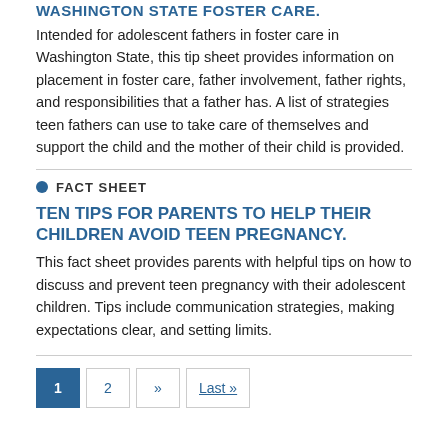WASHINGTON STATE FOSTER CARE.
Intended for adolescent fathers in foster care in Washington State, this tip sheet provides information on placement in foster care, father involvement, father rights, and responsibilities that a father has. A list of strategies teen fathers can use to take care of themselves and support the child and the mother of their child is provided.
FACT SHEET
TEN TIPS FOR PARENTS TO HELP THEIR CHILDREN AVOID TEEN PREGNANCY.
This fact sheet provides parents with helpful tips on how to discuss and prevent teen pregnancy with their adolescent children. Tips include communication strategies, making expectations clear, and setting limits.
1  2  »  Last »